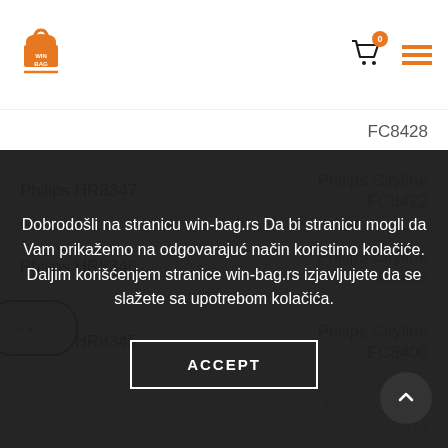WIN BAG logo, cart icon (0), menu icon
Philips HR8347 | Philips Cityline FC8422
Philips HR8346 | Philips Cityline FC8408
Philips HR8345 | Philips Cityline FC8400
Philips HR8344 | Philips Cityline FC8374
Philips HR8343 | Philips CityLine FC8400
Dobrodošli na stranicu win-bag.rs Da bi stranicu mogli da Vam prikažemo na odgovarajuć način koristimo kolačiće. Daljim korišćenjem stranice win-bag.rs izjavljujete da se slažete sa upotrebom kolačića.
ACCEPT